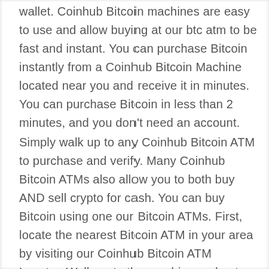wallet. Coinhub Bitcoin machines are easy to use and allow buying at our btc atm to be fast and instant. You can purchase Bitcoin instantly from a Coinhub Bitcoin Machine located near you and receive it in minutes. You can purchase Bitcoin in less than 2 minutes, and you don't need an account. Simply walk up to any Coinhub Bitcoin ATM to purchase and verify. Many Coinhub Bitcoin ATMs also allow you to both buy AND sell crypto for cash. You can buy Bitcoin using one our Bitcoin ATMs. First, locate the nearest Bitcoin ATM in your area by visiting our Coinhub Bitcoin ATM Locator. Walk up to the machine and enter your phone number. The machine will verify your phone using a code and scan the bitcoin wallet. Enter bills one bill at a time for the amount you would like to purchase and confirm the bitcoin atm prior to purchase. Bitcoin is then instantly sent to your wallet. The daily buying limit is $25,000. There are Bitcoin Machines located in major